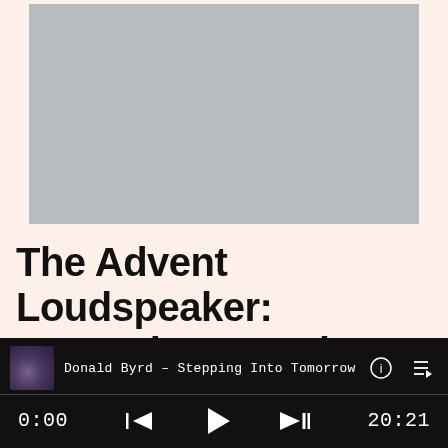[Figure (photo): Gray album art placeholder rectangle on light peach background]
The Advent Loudspeaker: Heavy, inexpensive, durable and deeeeep
Donald Byrd – Stepping Into Tomorrow
0:00
20:21